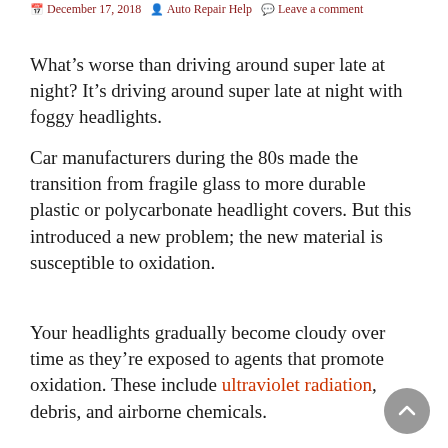December 17, 2018  Auto Repair Help  Leave a comment
What’s worse than driving around super late at night? It’s driving around super late at night with foggy headlights.
Car manufacturers during the 80s made the transition from fragile glass to more durable plastic or polycarbonate headlight covers. But this introduced a new problem; the new material is susceptible to oxidation.
Your headlights gradually become cloudy over time as they’re exposed to agents that promote oxidation. These include ultraviolet radiation, debris, and airborne chemicals.